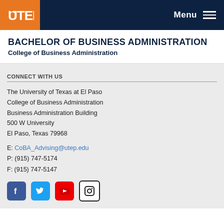[Figure (logo): UTEP logo in white on orange background, navigation bar with Menu text and hamburger icon on dark navy background]
BACHELOR OF BUSINESS ADMINISTRATION
College of Business Administration
CONNECT WITH US
The University of Texas at El Paso
College of Business Administration
Business Administration Building
500 W University
El Paso, Texas 79968
E: CoBA_Advising@utep.edu
P: (915) 747-5174
F: (915) 747-5147
[Figure (illustration): Social media icons: Facebook (blue), Twitter (light blue), YouTube (red), Instagram (black outline)]